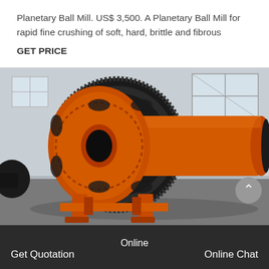Planetary Ball Mill. US$ 3,500. A Planetary Ball Mill for rapid fine crushing of soft, hard, brittle and fibrous
GET PRICE
[Figure (photo): Industrial ball mill machine painted orange with large black gear ring, cylindrical drum, and support frame, photographed in a factory/warehouse setting.]
Online
Get Quotation
Online Chat